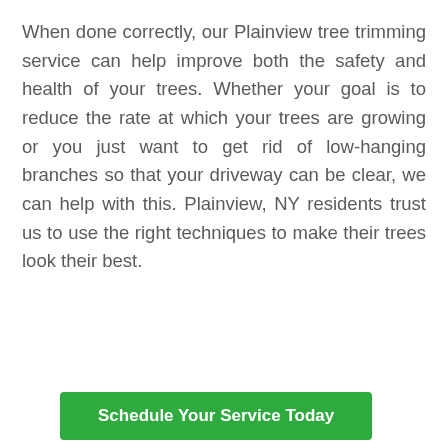When done correctly, our Plainview tree trimming service can help improve both the safety and health of your trees. Whether your goal is to reduce the rate at which your trees are growing or you just want to get rid of low-hanging branches so that your driveway can be clear, we can help with this. Plainview, NY residents trust us to use the right techniques to make their trees look their best.
Schedule Your Service Today